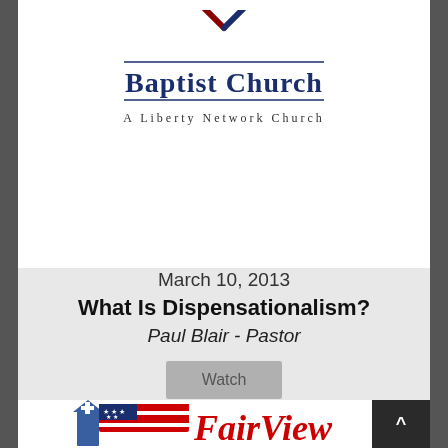[Figure (logo): Baptist Church logo with crossed tools/hammers icon above text reading 'Baptist Church' and 'A Liberty Network Church']
March 10, 2013
What Is Dispensationalism?
Paul Blair - Pastor
[Figure (other): Watch button - gray rounded rectangle button with text 'Watch']
[Figure (logo): FairView Baptist Church logo with church steeple, American flag with stars and stripes, and cursive 'FairView' text in red]